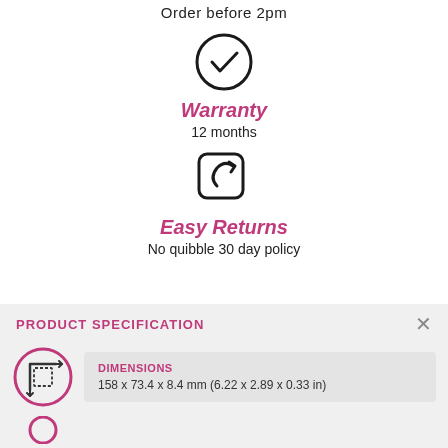Order before 2pm
[Figure (illustration): Checkmark inside a circle icon]
Warranty
12 months
[Figure (illustration): Returns/refresh arrow icon inside rounded square]
Easy Returns
No quibble 30 day policy
PRODUCT SPECIFICATION
[Figure (illustration): Dimensions icon: rounded square with dashed inner border and arrows]
DIMENSIONS
158 x 73.4 x 8.4 mm (6.22 x 2.89 x 0.33 in)